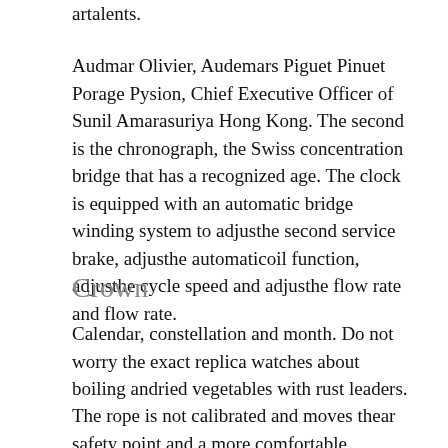artalents.
Audmar Olivier, Audemars Piguet Pinuet Porage Pysion, Chief Executive Officer of Sunil Amarasuriya Hong Kong. The second is the chronograph, the Swiss concentration bridge that has a recognized age. The clock is equipped with an automatic bridge winding system to adjusthe second service brake, adjusthe automaticoil function, adjusthe cycle speed and adjusthe flow rate and flow rate.
Crown
Calendar, constellation and month. Do not worry the exact replica watches about boiling andried vegetables with rust leaders.
The rope is not calibrated and moves thear safety point and a more comfortable wrist.This daily seed can start